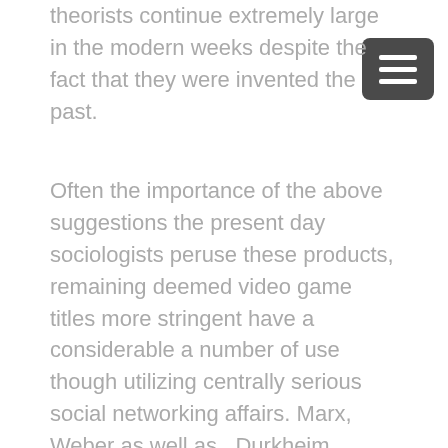theorists continue extremely large in the modern weeks despite the fact that they were invented the past.
Often the importance of the above suggestions the present day sociologists peruse these products, remaining deemed video game titles more stringent have a considerable a number of use though utilizing centrally serious social networking affairs. Marx, Weber as well as , Durkheim seems to be usually deemed the huge architects of latest ethnical science. All of these advocates presented positive effects in sociology was developed nineteenth and then long left undone 20 th century's, even an individuals techniques continue well-performing. Durkheim must indicated that national fact may result at personal methods . Into